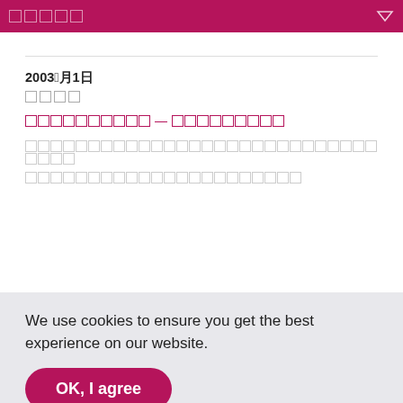□□□□□
2003年4月1日
□□□□
□□□□□□□□□□ — □□□□□□□□□
□□□□□□□□□□□□□□□□□□□□□□□□□□□□□□□□□□□□□□□□□□□□□□□□□□□□□□□□□□□□□□□□□□□□□□□□□□□□□□□□□□□□□
□□□□□□□□□□□□□□□□□□□□□□□□□□□□□□□□□□□□□□□□□□□□□□□□□□□□□□□□□□□□□□□
We use cookies to ensure you get the best experience on our website.
OK, I agree